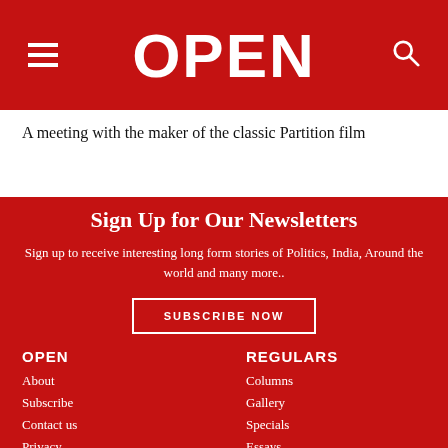OPEN
A meeting with the maker of the classic Partition film
Sign Up for Our Newsletters
Sign up to receive interesting long form stories of Politics, India, Around the world and many more..
SUBSCRIBE NOW
OPEN
About
Subscribe
Contact us
Privacy
REGULARS
Columns
Gallery
Specials
Essays